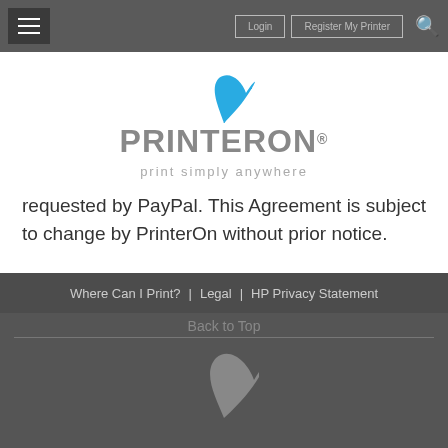≡  Login  Register My Printer  🔍
[Figure (logo): PrinterOn logo with blue bird icon and tagline 'print simply anywhere']
requested by PayPal. This Agreement is subject to change by PrinterOn without prior notice.
Where Can I Print? | Legal | HP Privacy Statement  Back to Top